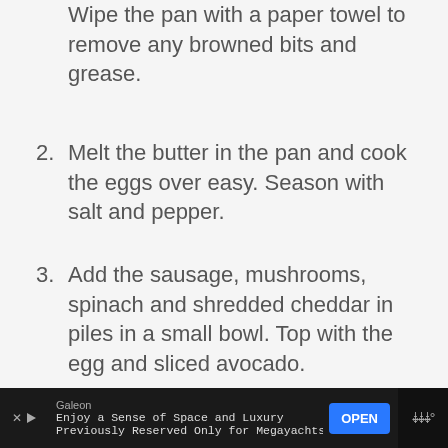Wipe the pan with a paper towel to remove any browned bits and grease.
2. Melt the butter in the pan and cook the eggs over easy. Season with salt and pepper.
3. Add the sausage, mushrooms, spinach and shredded cheddar in piles in a small bowl. Top with the egg and sliced avocado.
Galeon
Enjoy a Sense of Space and Luxury
Previously Reserved Only for Megayachts
OPEN